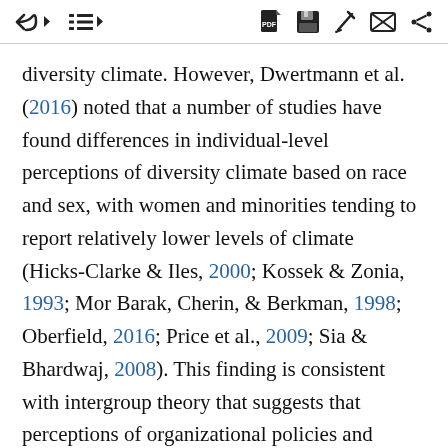[toolbar icons]
diversity climate. However, Dwertmann et al. (2016) noted that a number of studies have found differences in individual-level perceptions of diversity climate based on race and sex, with women and minorities tending to report relatively lower levels of climate (Hicks-Clarke & Iles, 2000; Kossek & Zonia, 1993; Mor Barak, Cherin, & Berkman, 1998; Oberfield, 2016; Price et al., 2009; Sia & Bhardwaj, 2008). This finding is consistent with intergroup theory that suggests that perceptions of organizational policies and actions are influenced by identity group memberships (e.g., gender, racial affiliation) (Mor Barak et al., 1998). Women and minorities, who are more likely to experience sexism and racism, are expected to see